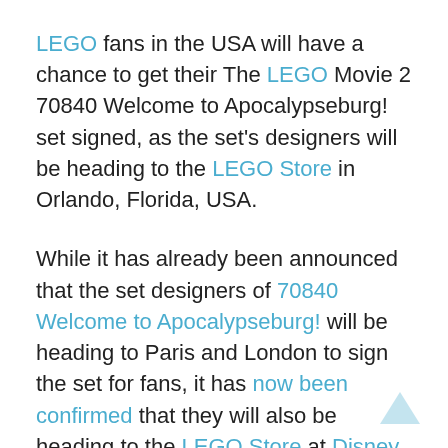LEGO fans in the USA will have a chance to get their The LEGO Movie 2 70840 Welcome to Apocalypseburg! set signed, as the set's designers will be heading to the LEGO Store in Orlando, Florida, USA.
While it has already been announced that the set designers of 70840 Welcome to Apocalypseburg! will be heading to Paris and London to sign the set for fans, it has now been confirmed that they will also be heading to the LEGO Store at Disney Springs in Orlando.
On January 19, LEGO Model Designer Justin Ramsden and LEGO Graphic Designer Paul Constantin will be at the LEGO Store at Disney Springs, Orlando, Florida, USA to sign The LEGO Movie 2 The Second Part 70840 Welcome to...